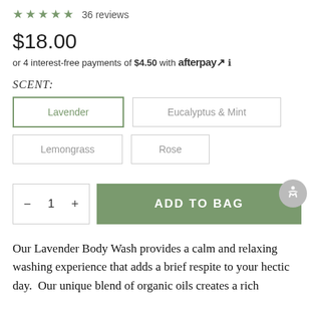★★★★★ 36 reviews
$18.00
or 4 interest-free payments of $4.50 with afterpay ℹ
SCENT:
Lavender
Eucalyptus & Mint
Lemongrass
Rose
− 1 + ADD TO BAG
Our Lavender Body Wash provides a calm and relaxing washing experience that adds a brief respite to your hectic day.  Our unique blend of organic oils creates a rich